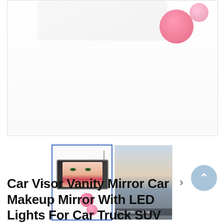[Figure (photo): Main product photo showing a car visor vanity mirror with LED lights and pink pom-pom decorations on a white background]
[Figure (photo): Thumbnail 1 (selected, blue border): Car visor vanity mirror with LED lights showing a woman's face reflection, with pink pom-pom and chain pendant decoration]
[Figure (photo): Thumbnail 2: Car interior photo showing rearview mirror area with text 'Decorate another h...']
Car Visor Vanity Mirror Car Makeup Mirror With LED Lights For Car Truck SUV Rear View Mirror Sun Shading Cosmetic...